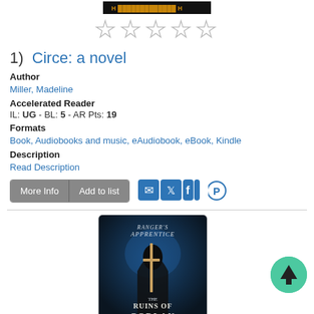[Figure (screenshot): Book cover thumbnail at top of page (partially visible, dark with orange/gold text)]
[Figure (other): Five empty star rating icons]
1)  Circe: a novel
Author
Miller, Madeline
Accelerated Reader
IL: UG - BL: 5 - AR Pts: 19
Formats
Book, Audiobooks and music, eAudiobook, eBook, Kindle
Description
Read Description
[Figure (screenshot): Ranger's Apprentice: The Ruins of Gorlan book cover — dark blue scene with cloaked figure holding a sword]
[Figure (other): Teal circular floating action button with upward arrow]